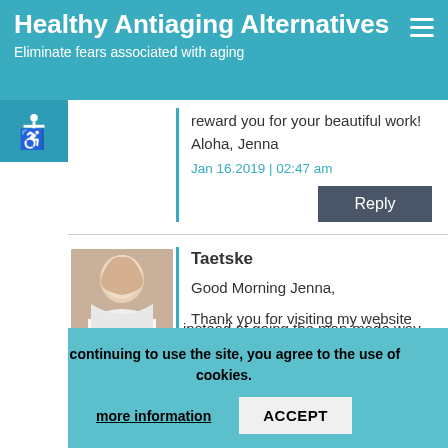Healthy Antiaging Alternatives
Eliminate fears associated with aging
reward you for your beautiful work!
Aloha, Jenna
Jan 16.2019 | 02:47 am
Reply
Taetske
Good Morning Jenna,
Thank you for visiting my website and leaving a comment. I hope you downloaded your free e-Book. Nature always knows best. If only we would accept that instead of going the man-made way.
By continuing to use the site, you agree to the use of cookies.
more information    ACCEPT